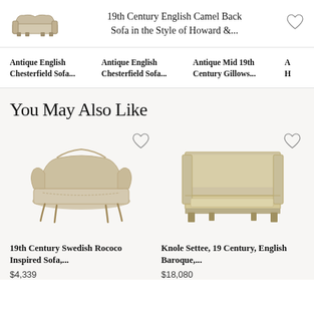19th Century English Camel Back Sofa in the Style of Howard &...
Antique English Chesterfield Sofa...
Antique English Chesterfield Sofa...
Antique Mid 19th Century Gillows...
A H...
You May Also Like
[Figure (photo): 19th Century Swedish Rococo Inspired Sofa - cream/beige upholstered settee with carved wooden legs]
19th Century Swedish Rococo Inspired Sofa,...
$4,339
[Figure (photo): Knole Settee, 19 Century, English Baroque - beige/cream upholstered high-back sofa]
Knole Settee, 19 Century, English Baroque,...
$18,080